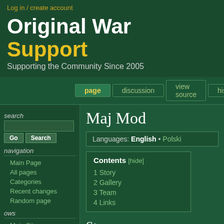Log in / create account
Original War Support
Supporting the Community Since 2005
page | discussion | view source | histor
search
Maj Mod
Languages: English • Polski
Contents [hide]
1 Story
2 Gallery
3 Team
4 Links
navigation
Main Page
All pages
Categories
Recent changes
Random page
ows
Main Site
Forum
Images
original war
About Original War
Story